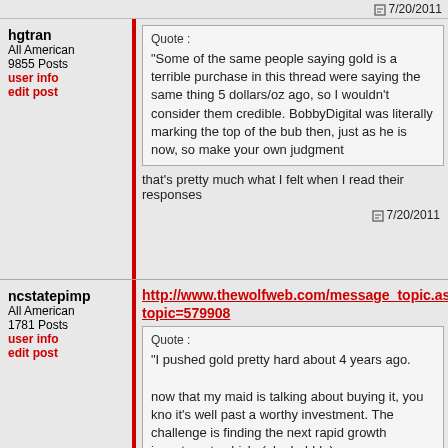7/20/2011
hgtran
All American
9855 Posts
user info
edit post
Quote:
"Some of the same people saying gold is a terrible purchase in this thread were saying the same thing 5 dollars/oz ago, so I wouldn't consider them credible. BobbyDigital was literally marking the top of the bubble then, just as he is now, so make your own judgment"
that's pretty much what I felt when I read their responses
7/20/2011
ncstatepimp
All American
1781 Posts
user info
edit post
http://www.thewolfweb.com/message_topic.aspx?topic=579908
Quote:
"I pushed gold pretty hard about 4 years ago.

now that my maid is talking about buying it, you know it's well past a worthy investment. The challenge is finding the next rapid growth investment vehicle (aka bubble).

11/12/2009 10:35:37 AM"
Quote :